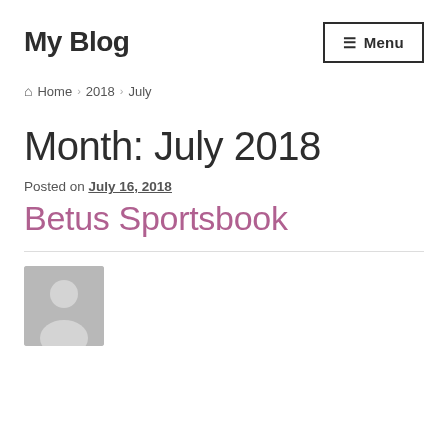My Blog
≡ Menu
⌂ Home › 2018 › July
Month: July 2018
Posted on July 16, 2018
Betus Sportsbook
[Figure (illustration): Grey avatar placeholder image showing a silhouette of a person]